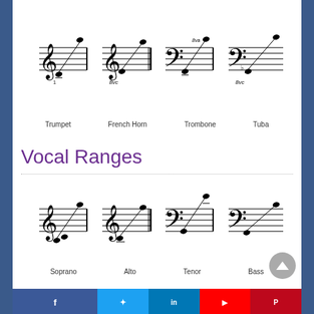[Figure (illustration): Music staff notation showing ranges for four brass instruments: Trumpet, French Horn, Trombone, Tuba. Each instrument shows its written range on a staff with treble or bass clef, with notes connected by diagonal lines indicating the range span. 8va and 8vb markings are present.]
Trumpet    French Horn    Trombone    Tuba
Vocal Ranges
[Figure (illustration): Music staff notation showing ranges for four vocal parts: Soprano, Alto, Tenor, Bass. Each voice part shows its range on a staff with treble or bass clef, with notes connected by diagonal lines indicating the range span.]
Soprano    Alto    Tenor    Bass
Social share buttons: Facebook, Twitter, LinkedIn, YouTube, Pinterest